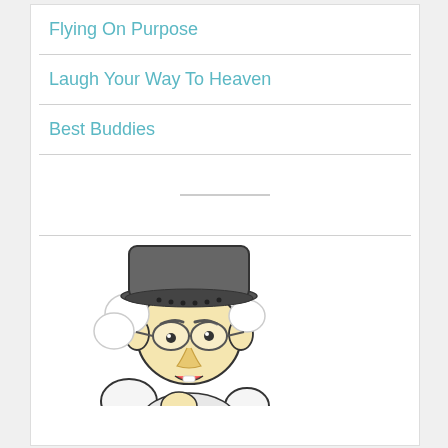Flying On Purpose
Laugh Your Way To Heaven
Best Buddies
[Figure (illustration): Cartoon illustration of an elderly character wearing a dark cap and glasses, with white fluffy hair/features, drawn in a simple comic style, cropped at bottom of page]